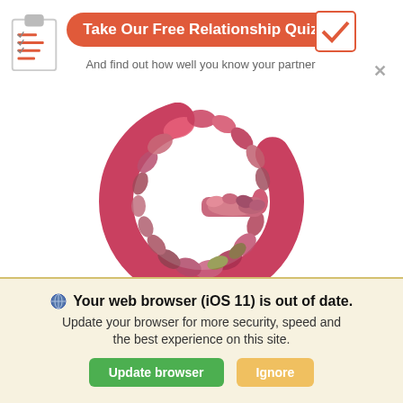[Figure (infographic): Website banner ad with clipboard icon, red pill-shaped button 'Take Our Free Relationship Quiz', subtext 'And find out how well you know your partner', checkbox icon with checkmark, and close X button]
[Figure (photo): A letter G shape made of dried rose petals and flowers in pink, red, and earthy tones on white background]
LOVE & RELATIONSHIPS
G is for Gratitude
Do you “give thanks” before meals? If so, to whom?
Your web browser (iOS 11) is out of date. Update your browser for more security, speed and the best experience on this site.
Update browser
Ignore